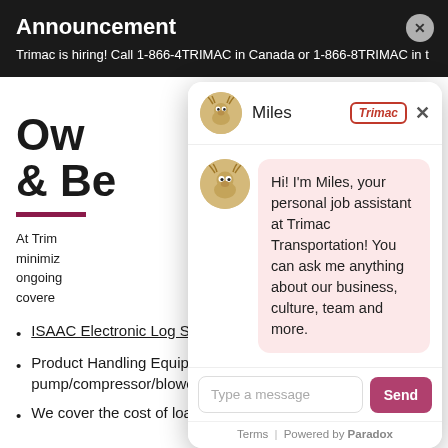Announcement
Trimac is hiring! Call 1-866-4TRIMAC in Canada or 1-866-8TRIMAC in t...
Own & Be...
At Trim... minimiz... ongoing... covere...
ISAAC Electronic Log System provided
Product Handling Equipment Program: pump/compressor/blower
We cover the cost of loading and unloading
[Figure (screenshot): Chat widget overlay showing Miles the moose chatbot for Trimac Transportation. Header shows moose avatar, name 'Miles', Trimac logo and X close button. Message bubble with pink background reads: Hi! I'm Miles, your personal job assistant at Trimac Transportation! You can ask me anything about our business, culture, team and more. Input area says 'Type a message' with pink Send button. Footer shows Terms | Powered by Paradox.]